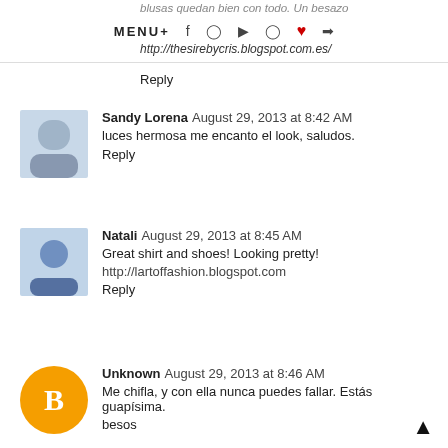blusas quedan bien con todo. Un besazo http://thesirebycris.blogspot.com.es/ | MENU+ [social icons]
Reply
Sandy Lorena  August 29, 2013 at 8:42 AM
luces hermosa me encanto el look, saludos.
Reply
Natali  August 29, 2013 at 8:45 AM
Great shirt and shoes! Looking pretty!
http://lartoffashion.blogspot.com
Reply
Unknown  August 29, 2013 at 8:46 AM
Me chifla, y con ella nunca puedes fallar. Estás guapísima.
besos